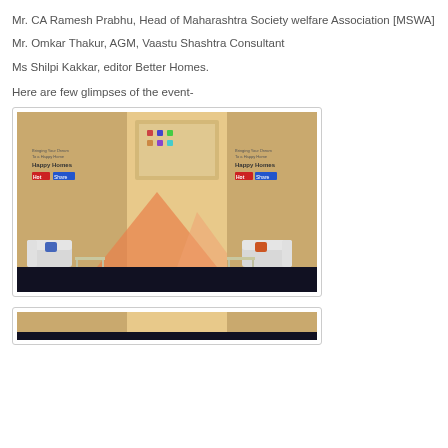Mr. CA Ramesh Prabhu, Head of Maharashtra Society welfare Association [MSWA]
Mr. Omkar Thakur, AGM, Vaastu Shashtra Consultant
Ms Shilpi Kakkar, editor Better Homes.
Here are few glimpses of the event-
[Figure (photo): Event stage setup showing 'Happy Homes' branded backdrops with presentation screen and white sofa seating arrangement]
[Figure (photo): Partial view of another event photo at the bottom of the page]